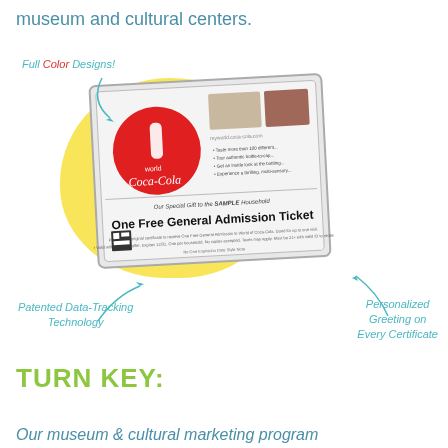museum and cultural centers.
[Figure (infographic): An infographic showing a sample World of Coca-Cola 'One Free General Admission Ticket' certificate/mailer. The ticket is displayed at a slight angle on a yellow blob background. Annotations point to features: 'Full Color Designs!' (top left, with 'Color' in red), 'Patented Data-Tracking Technology' (bottom left), and 'Personalized Greeting on Every Certificate' (bottom right). Curved arrows point from the labels to the ticket.]
TURN KEY:
Our museum & cultural marketing program